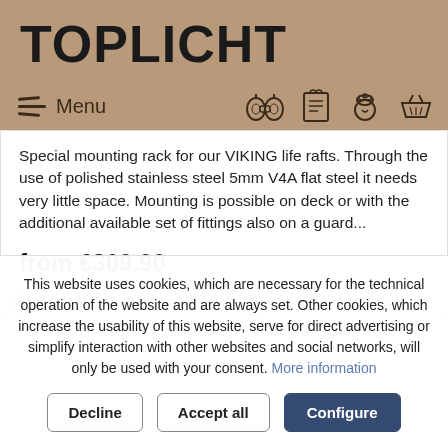TOPLICHT
Menu
Special mounting rack for our VIKING life rafts. Through the use of polished stainless steel 5mm V4A flat steel it needs very little space. Mounting is possible on deck or with the additional available set of fittings also on a guard...
from €309.90
This website uses cookies, which are necessary for the technical operation of the website and are always set. Other cookies, which increase the usability of this website, serve for direct advertising or simplify interaction with other websites and social networks, will only be used with your consent. More information